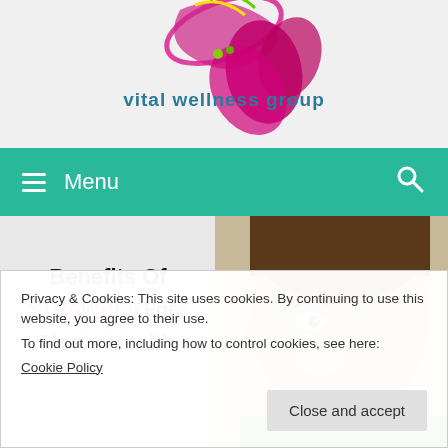[Figure (logo): Vital Wellness Group logo with colorful abstract design and flower, teal text reading 'vital wellness group']
Menu
[Figure (photo): Article featured image: Benefits Of STRAWBERRIES For Men's Health, showing a smiling man's face on right, text overlay on left]
Privacy & Cookies: This site uses cookies. By continuing to use this website, you agree to their use.
To find out more, including how to control cookies, see here:
Cookie Policy
Close and accept